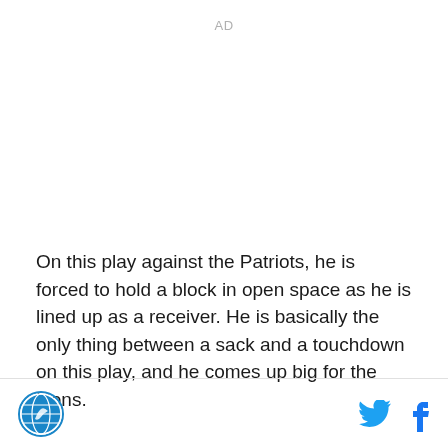AD
On this play against the Patriots, he is forced to hold a block in open space as he is lined up as a receiver. He is basically the only thing between a sack and a touchdown on this play, and he comes up big for the Lions.
SB Nation logo, Twitter icon, Facebook icon